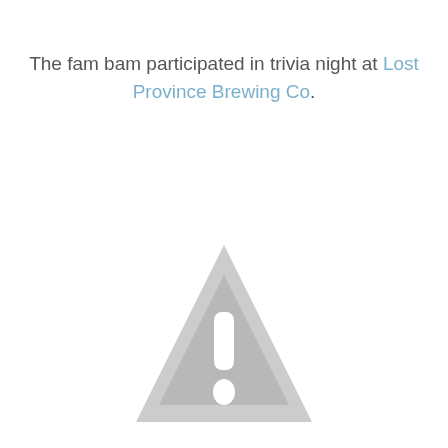The fam bam participated in trivia night at Lost Province Brewing Co.
[Figure (illustration): A gray warning/caution triangle icon with an exclamation mark inside, centered in the lower half of the page.]